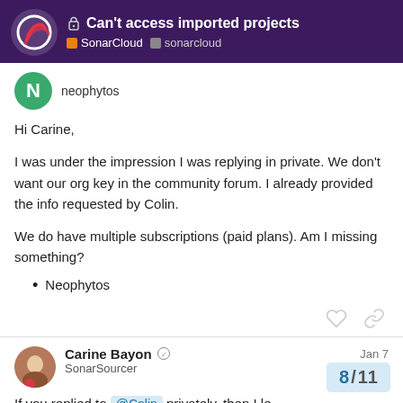Can't access imported projects — SonarCloud / sonarcloud
neophytos
Hi Carine,

I was under the impression I was replying in private. We don't want our org key in the community forum. I already provided the info requested by Colin.

We do have multiple subscriptions (paid plans). Am I missing something?
Neophytos
Carine Bayon — SonarSourcer — Jan 7
If you replied to @Colin privately, then I le...